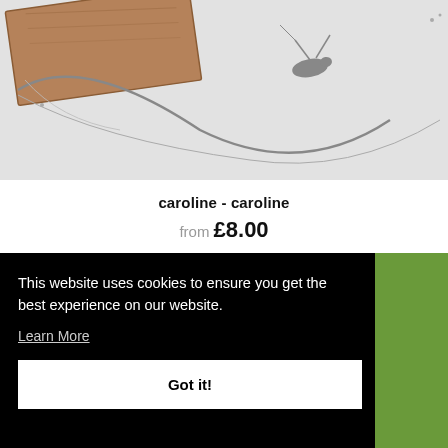[Figure (photo): Product image of artwork 'caroline - caroline' showing abstract lines and shapes on a light gray background with a wooden panel in the upper left]
caroline - caroline
from £8.00
This website uses cookies to ensure you get the best experience on our website. Learn More
Got it!